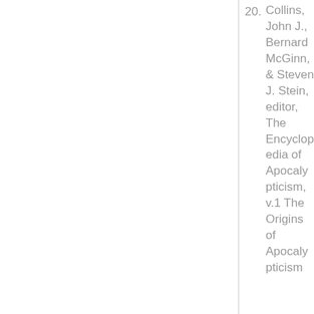20. Collins, John J., Bernard McGinn, & Steven J. Stein, editor, The Encyclopedia of Apocalypticism, v.1 The Origins of Apocalypticism